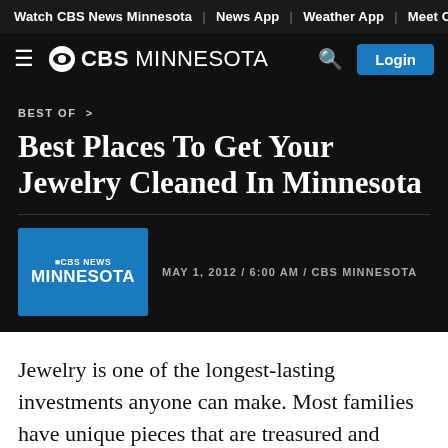Watch CBS News Minnesota | News App | Weather App | Meet Our Te
CBS MINNESOTA
BEST OF >
Best Places To Get Your Jewelry Cleaned In Minnesota
MAY 1, 2012 / 6:00 AM / CBS MINNESOTA
Jewelry is one of the longest-lasting investments anyone can make. Most families have unique pieces that are treasured and passed down for generations.